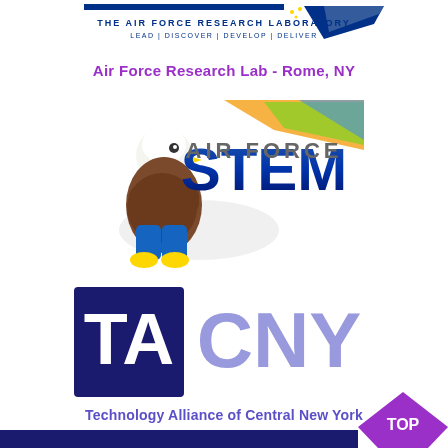[Figure (logo): Air Force Research Laboratory logo with eagle and text: THE AIR FORCE RESEARCH LABORATORY LEAD | DISCOVER | DEVELOP | DELIVER]
Air Force Research Lab - Rome, NY
[Figure (logo): Air Force STEM logo with eagle mascot character and stylized STEM text with colorful prism graphic]
[Figure (logo): TACNY logo - dark blue square with TA letters and light purple CNY text]
Technology Alliance of Central New York
[Figure (logo): TOP badge - purple diamond/arrow shape with TOP text, dark blue bottom bar]